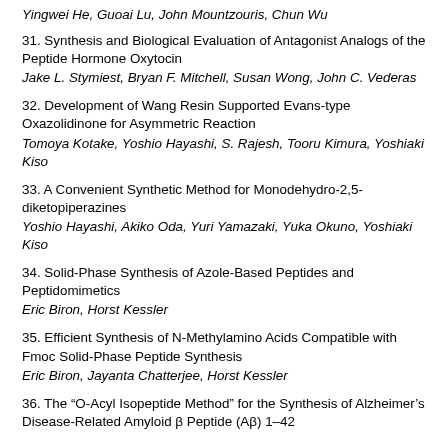Yingwei He, Guoai Lu, John Mountzouris, Chun Wu
31. Synthesis and Biological Evaluation of Antagonist Analogs of the Peptide Hormone Oxytocin
Jake L. Stymiest, Bryan F. Mitchell, Susan Wong, John C. Vederas
32. Development of Wang Resin Supported Evans-type Oxazolidinone for Asymmetric Reaction
Tomoya Kotake, Yoshio Hayashi, S. Rajesh, Tooru Kimura, Yoshiaki Kiso
33. A Convenient Synthetic Method for Monodehydro-2,5-diketopiperazines
Yoshio Hayashi, Akiko Oda, Yuri Yamazaki, Yuka Okuno, Yoshiaki Kiso
34. Solid-Phase Synthesis of Azole-Based Peptides and Peptidomimetics
Eric Biron, Horst Kessler
35. Efficient Synthesis of N-Methylamino Acids Compatible with Fmoc Solid-Phase Peptide Synthesis
Eric Biron, Jayanta Chatterjee, Horst Kessler
36. The “O-Acyl Isopeptide Method” for the Synthesis of Alzheimer’s Disease-Related Amyloid ß Peptide (Aß) 1–42